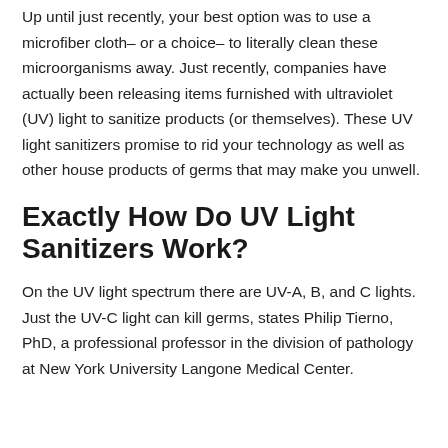Up until just recently, your best option was to use a microfiber cloth– or a choice– to literally clean these microorganisms away. Just recently, companies have actually been releasing items furnished with ultraviolet (UV) light to sanitize products (or themselves). These UV light sanitizers promise to rid your technology as well as other house products of germs that may make you unwell.
Exactly How Do UV Light Sanitizers Work?
On the UV light spectrum there are UV-A, B, and C lights. Just the UV-C light can kill germs, states Philip Tierno, PhD, a professional professor in the division of pathology at New York University Langone Medical Center.